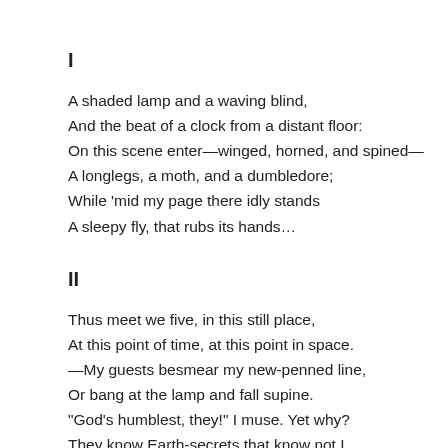I
A shaded lamp and a waving blind,
And the beat of a clock from a distant floor:
On this scene enter—winged, horned, and spined—
A longlegs, a moth, and a dumbledore;
While 'mid my page there idly stands
A sleepy fly, that rubs its hands…
II
Thus meet we five, in this still place,
At this point of time, at this point in space.
—My guests besmear my new-penned line,
Or bang at the lamp and fall supine.
"God's humblest, they!" I muse. Yet why?
They know Earth-secrets that know not I.